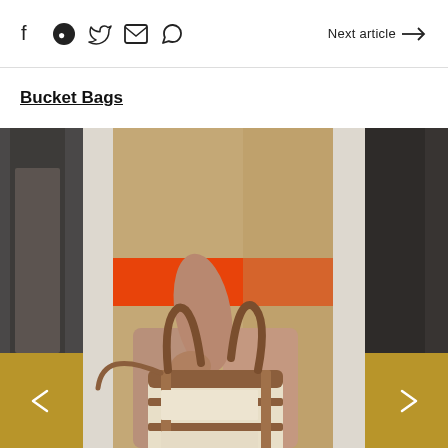Social share icons and Next article navigation
Bucket Bags
[Figure (photo): A fashion model holding a structured cream and tan bucket bag with brown leather straps and trim, wearing a camel coat with bold orange stripe details, photographed from mid-torso down. Navigation arrows on gold/olive colored panels appear on left and right sides. Dark side strips partially visible.]